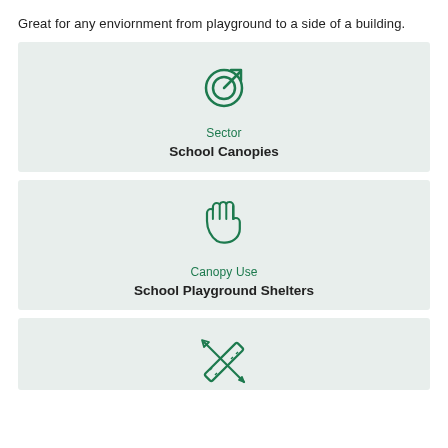Great for any enviornment from playground to a side of a building.
[Figure (infographic): Card with target/sector icon, label 'Sector', and text 'School Canopies']
[Figure (infographic): Card with hand/wave icon, label 'Canopy Use', and text 'School Playground Shelters']
[Figure (infographic): Card with crossed pencil and ruler icon, partially visible at bottom]